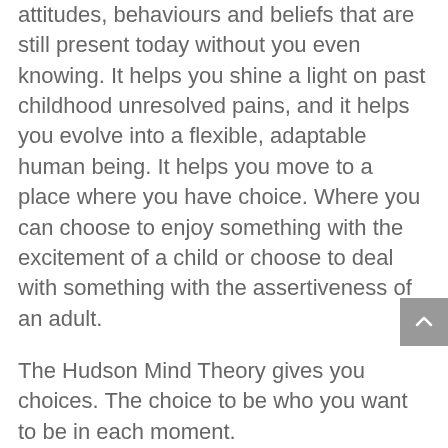attitudes, behaviours and beliefs that are still present today without you even knowing. It helps you shine a light on past childhood unresolved pains, and it helps you evolve into a flexible, adaptable human being. It helps you move to a place where you have choice. Where you can choose to enjoy something with the excitement of a child or choose to deal with something with the assertiveness of an adult.
The Hudson Mind Theory gives you choices. The choice to be who you want to be in each moment.